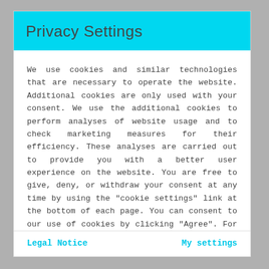Privacy Settings
We use cookies and similar technologies that are necessary to operate the website. Additional cookies are only used with your consent. We use the additional cookies to perform analyses of website usage and to check marketing measures for their efficiency. These analyses are carried out to provide you with a better user experience on the website. You are free to give, deny, or withdraw your consent at any time by using the "cookie settings" link at the bottom of each page. You can consent to our use of cookies by clicking "Agree". For more information about what information is collected and how it is shared with our partners, please read our Data Protection Statement.
Legal Notice
My settings